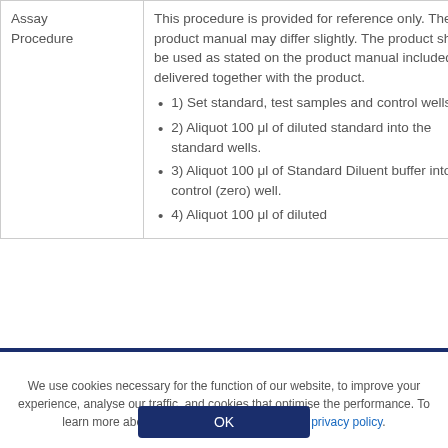| Assay Procedure | This procedure is provided for reference only. The product manual may differ slightly. The product should be used as stated on the product manual included and delivered together with the product.
• 1) Set standard, test samples and control wells.
• 2) Aliquot 100 μl of diluted standard into the standard wells.
• 3) Aliquot 100 μl of Standard Diluent buffer into control (zero) well.
• 4) Aliquot 100 μl of diluted... |
We use cookies necessary for the function of our website, to improve your experience, analyse our traffic, and cookies that optimise the performance. To learn more about our cookies, please read our privacy policy.